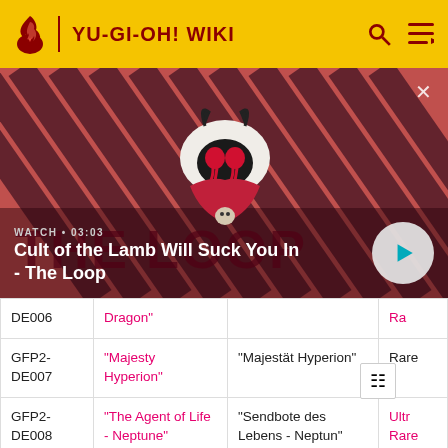YU-GI-OH! WIKI
[Figure (screenshot): Video thumbnail banner showing a cartoon lamb character with devil horns on a red and dark striped background. Text overlay reads WATCH • 03:03 and title Cult of the Lamb Will Suck You In - The Loop with a play button on the right.]
| Set | English name | German name | Rarity |
| --- | --- | --- | --- |
| DE006 | Dragon" |  | Ra… |
| GFP2-DE007 | "Majesty Hyperion" | "Majestät Hyperion" | Rare |
| GFP2-DE008 | "The Agent of Life - Neptune" | "Sendbote des Lebens - Neptun" | Ultra Rare |